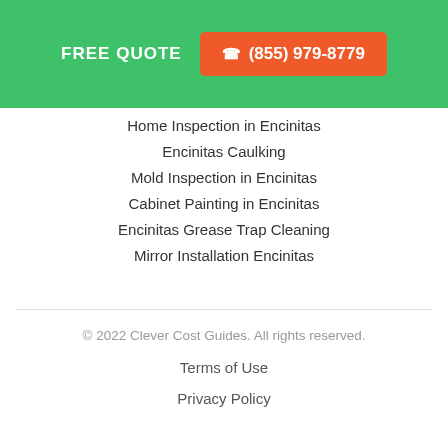FREE QUOTE  ☎ (855) 979-8779
Home Inspection in Encinitas
Encinitas Caulking
Mold Inspection in Encinitas
Cabinet Painting in Encinitas
Encinitas Grease Trap Cleaning
Mirror Installation Encinitas
© 2022 Clever Cost Guides. All rights reserved.
Terms of Use
Privacy Policy